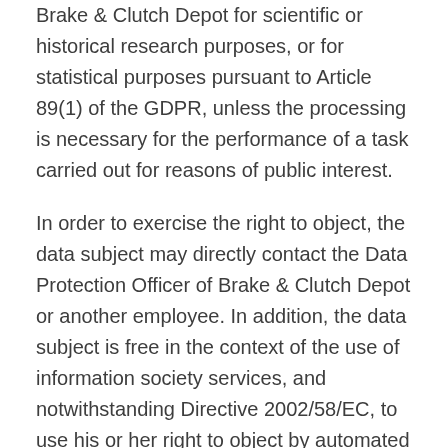Brake & Clutch Depot for scientific or historical research purposes, or for statistical purposes pursuant to Article 89(1) of the GDPR, unless the processing is necessary for the performance of a task carried out for reasons of public interest.
In order to exercise the right to object, the data subject may directly contact the Data Protection Officer of Brake & Clutch Depot or another employee. In addition, the data subject is free in the context of the use of information society services, and notwithstanding Directive 2002/58/EC, to use his or her right to object by automated means using technical specifications.
H) Automated individual decision-making, including profiling